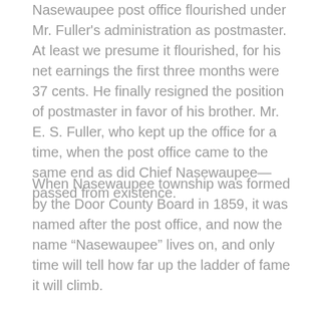Nasewaupee post office flourished under Mr. Fuller's administration as postmaster. At least we presume it flourished, for his net earnings the first three months were 37 cents. He finally resigned the position of postmaster in favor of his brother. Mr. E. S. Fuller, who kept up the office for a time, when the post office came to the same end as did Chief Nasewaupee—passed from existence.
When Nasewaupee township was formed by the Door County Board in 1859, it was named after the post office, and now the name “Nasewaupee” lives on, and only time will tell how far up the ladder of fame it will climb.